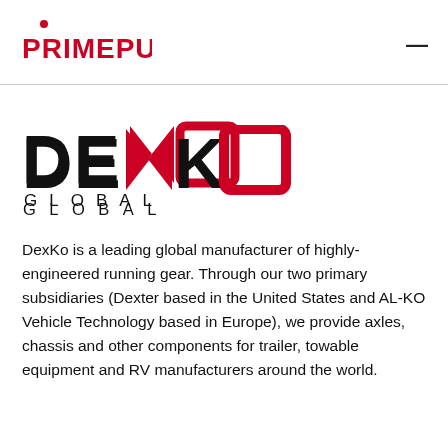PRIMEPULSE
[Figure (logo): DexKo Global logo with stylized black and red lettering and 'GLOBAL' in spaced caps below]
DexKo is a leading global manufacturer of highly-engineered running gear. Through our two primary subsidiaries (Dexter based in the United States and AL-KO Vehicle Technology based in Europe), we provide axles, chassis and other components for trailer, towable equipment and RV manufacturers around the world.